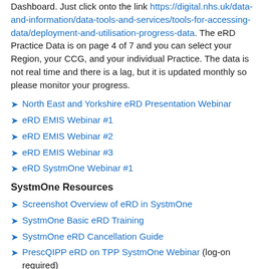Dashboard. Just click onto the link https://digital.nhs.uk/data-and-information/data-tools-and-services/tools-for-accessing-data/deployment-and-utilisation-progress-data. The eRD Practice Data is on page 4 of 7 and you can select your Region, your CCG, and your individual Practice. The data is not real time and there is a lag, but it is updated monthly so please monitor your progress.
North East and Yorkshire eRD Presentation Webinar
eRD EMIS Webinar #1
eRD EMIS Webinar #2
eRD EMIS Webinar #3
eRD SystmOne Webinar #1
SystmOne Resources
Screenshot Overview of eRD in SystmOne
SystmOne Basic eRD Training
SystmOne eRD Cancellation Guide
PrescQIPP eRD on TPP SystmOne Webinar (log-on required)